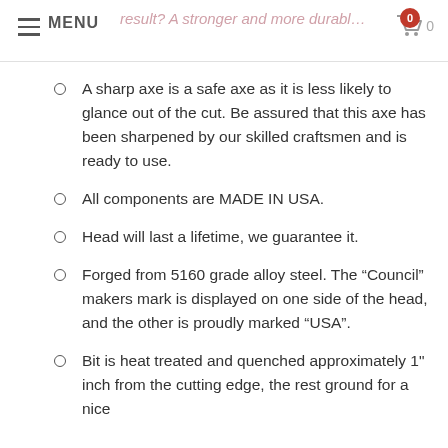MENU | result? A stronger and more durable tool.
A sharp axe is a safe axe as it is less likely to glance out of the cut. Be assured that this axe has been sharpened by our skilled craftsmen and is ready to use.
All components are MADE IN USA.
Head will last a lifetime, we guarantee it.
Forged from 5160 grade alloy steel. The “Council” makers mark is displayed on one side of the head, and the other is proudly marked “USA”.
Bit is heat treated and quenched approximately 1" inch from the cutting edge, the rest ground for a nice...